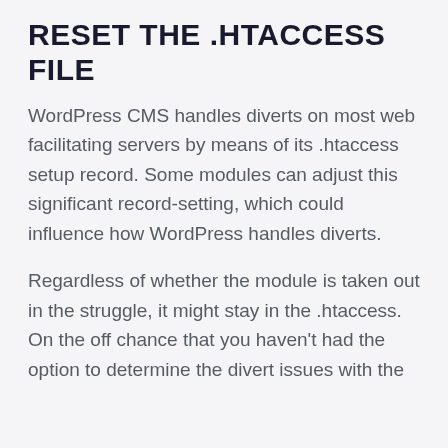RESET THE .HTACCESS FILE
WordPress CMS handles diverts on most web facilitating servers by means of its .htaccess setup record. Some modules can adjust this significant record-setting, which could influence how WordPress handles diverts.
Regardless of whether the module is taken out in the struggle, it might stay in the .htaccess. On the off chance that you haven't had the option to determine the divert issues with the